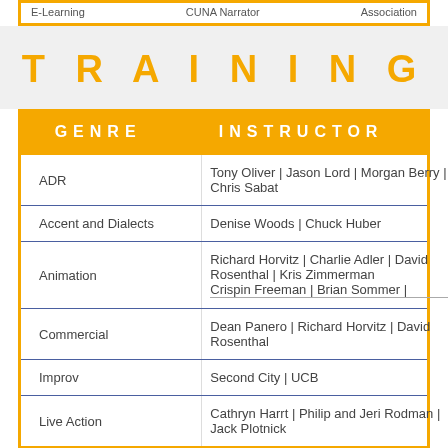| E-Learning | CUNA Narrator | Association |
TRAINING
| GENRE | INSTRUCTOR |
| --- | --- |
| ADR | Tony Oliver | Jason Lord | Morgan Berry | Chris Sabat |
| Accent and Dialects | Denise Woods | Chuck Huber |
| Animation | Richard Horvitz | Charlie Adler | David Rosenthal | Kris Zimmerman | Crispin Freeman | Brian Sommer | |
| Commercial | Dean Panero | Richard Horvitz | David Rosenthal |
| Improv | Second City | UCB |
| Live Action | Cathryn Harrt | Philip and Jeri Rodman | Jack Plotnick |